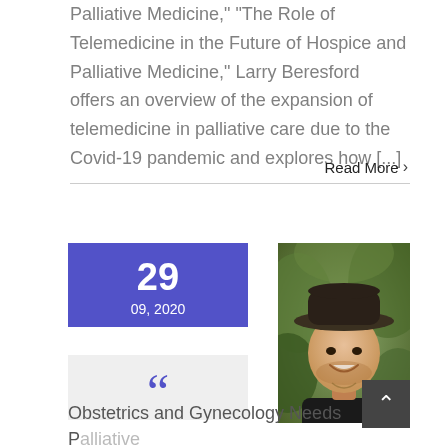Palliative Medicine,” “The Role of Telemedicine in the Future of Hospice and Palliative Medicine,” Larry Beresford offers an overview of the expansion of telemedicine in palliative care due to the Covid-19 pandemic and explores how [...]
Read More ›
[Figure (photo): Portrait photo of a smiling man wearing a wide-brimmed hat, outdoors with green foliage background]
29
09, 2020
““
Obstetrics and Gynecology Needs Palliative Care